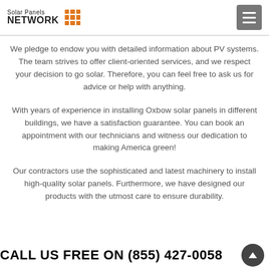Solar Panels NETWORK
We pledge to endow you with detailed information about PV systems. The team strives to offer client-oriented services, and we respect your decision to go solar. Therefore, you can feel free to ask us for advice or help with anything.
With years of experience in installing Oxbow solar panels in different buildings, we have a satisfaction guarantee. You can book an appointment with our technicians and witness our dedication to making America green!
Our contractors use the sophisticated and latest machinery to install high-quality solar panels. Furthermore, we have designed our products with the utmost care to ensure durability.
CALL US FREE ON (855) 427-0058